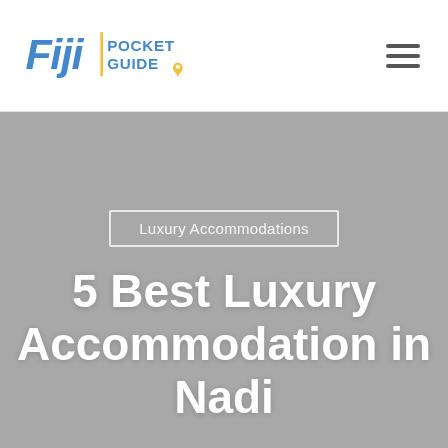[Figure (logo): Fiji Pocket Guide logo with stylized italic Fiji text in blue and yellow location pin, and POCKET GUIDE text]
Fiji Pocket Guide — navigation header with hamburger menu
Luxury Accommodations
5 Best Luxury Accommodation in Nadi